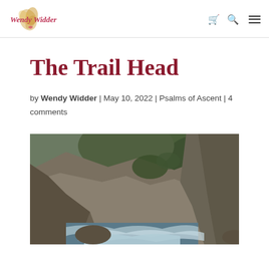Wendy Widder [logo]
The Trail Head
by Wendy Widder | May 10, 2022 | Psalms of Ascent | 4 comments
[Figure (photo): Rocky canyon with rushing river/rapids and green mossy rocks in background]